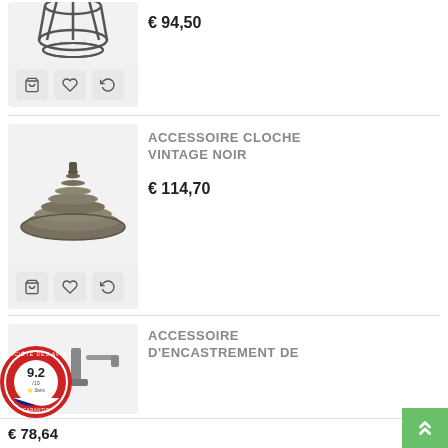[Figure (photo): Partial view of a dark metal wire cage lamp shade product with action buttons (cart, wishlist, compare) at bottom]
€ 94,50
[Figure (photo): Dark brown/grey ribbed metal bell-shaped lamp shade (cloche vintage noir) with action buttons at bottom]
ACCESSOIRE CLOCHE VINTAGE NOIR
€ 114,70
[Figure (photo): Recessed mounting accessory product image, partially visible]
ACCESSOIRE D'ENCASTREMENT DE
€ 78,64
[Figure (logo): Société des Avis Garantis badge showing 9.2/10 rating from 63 reviews over 3 years, French flag design]
[Figure (other): Green scroll-to-top button with double up arrow]